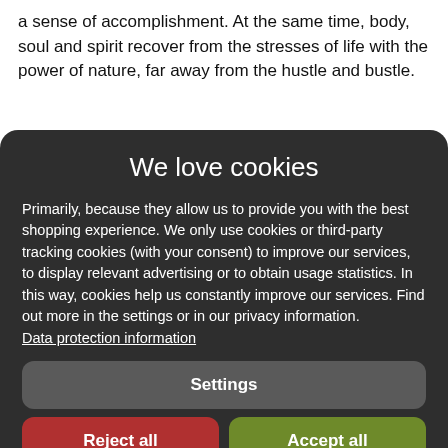a sense of accomplishment. At the same time, body, soul and spirit recover from the stresses of life with the power of nature, far away from the hustle and bustle.
We love cookies
Primarily, because they allow us to provide you with the best shopping experience. We only use cookies or third-party tracking cookies (with your consent) to improve our services, to display relevant advertising or to obtain usage statistics. In this way, cookies help us constantly improve our services. Find out more in the settings or in our privacy information. Data protection information
Settings
Reject all
Accept all